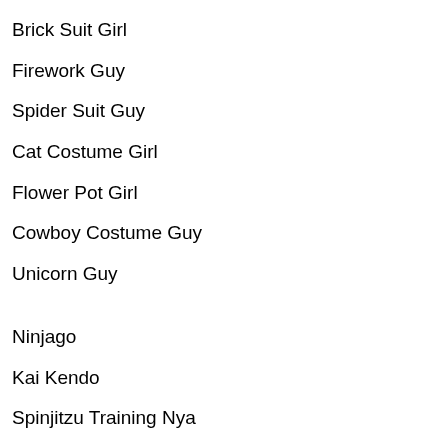Brick Suit Girl
Firework Guy
Spider Suit Guy
Cat Costume Girl
Flower Pot Girl
Cowboy Costume Guy
Unicorn Guy
Ninjago
Kai Kendo
Spinjitzu Training Nya
Misako
Zane